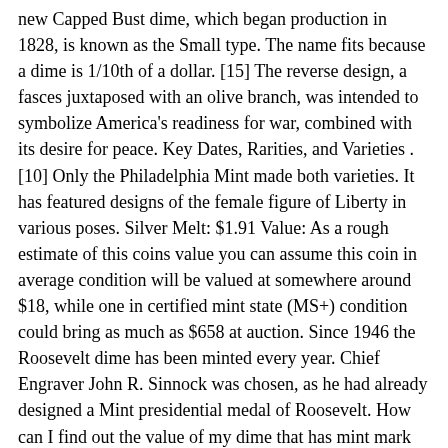new Capped Bust dime, which began production in 1828, is known as the Small type. The name fits because a dime is 1/10th of a dollar. [15] The reverse design, a fasces juxtaposed with an olive branch, was intended to symbolize America's readiness for war, combined with its desire for peace. Key Dates, Rarities, and Varieties . [10] Only the Philadelphia Mint made both varieties. It has featured designs of the female figure of Liberty in various poses. Silver Melt: $1.91 Value: As a rough estimate of this coins value you can assume this coin in average condition will be valued at somewhere around $18, while one in certified mint state (MS+) condition could bring as much as $658 at auction. Since 1946 the Roosevelt dime has been minted every year. Chief Engraver John R. Sinnock was chosen, as he had already designed a Mint presidential medal of Roosevelt. How can I find out the value of my dime that has mint mark errors and it has part copper showing through the silver on the obverse side. StackYourDollars.com is a participant in the Amazon Services LLC Associates Program. Another thing to be aware of is how much each American coin is worth. If you want top dollar for your coins, you need to sort them and organize them so the dealer can quickly see what you have. The task then fell to Gobrecht, who was promoted to Second Engraver. What does dime expression … In 1792, a limited number of dismes were minted but never circulated. The same rumor arose after the release of the Sinnock designed Franklin half dollar in April 1948. Every country has its own currency and they each have different worth. The value of the current dime...